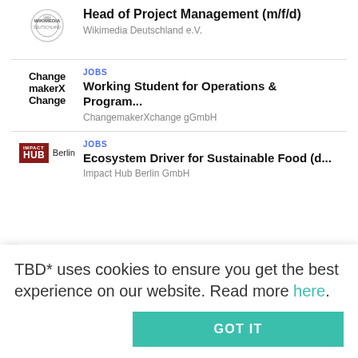[Figure (logo): Wikimedia Deutschland circular logo with text]
Head of Project Management (m/f/d)
Wikimedia Deutschland e.V.
[Figure (logo): ChangemakerXChange text logo]
JOBS
Working Student for Operations & Program...
ChangemakerXchange gGmbH
[Figure (logo): Impact HUB Berlin logo]
JOBS
Ecosystem Driver for Sustainable Food (d...
Impact Hub Berlin GmbH
TBD* uses cookies to ensure you get the best experience on our website. Read more here.